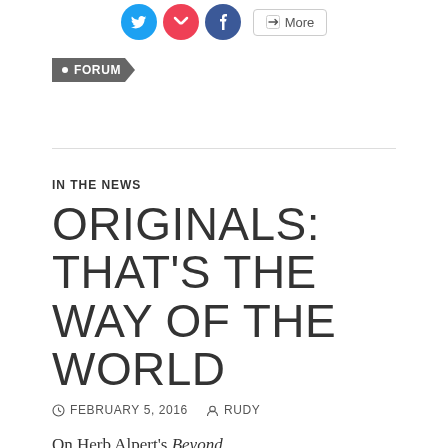[Figure (other): Social sharing icons: Twitter (blue circle), Pocket (red circle), Facebook (blue circle), and a 'More' button with share icon]
FORUM
IN THE NEWS
ORIGINALS: THAT'S THE WAY OF THE WORLD
FEBRUARY 5, 2016  RUDY
On Herb Alpert's Beyond